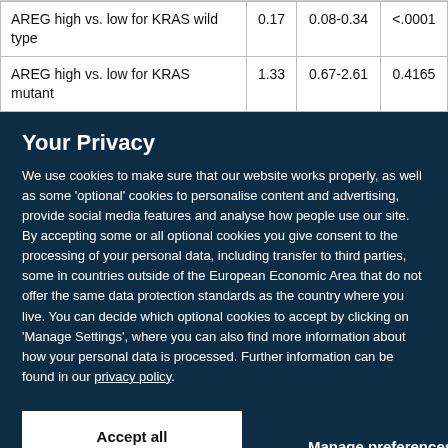| AREG high vs. low for KRAS wild type | 0.17 | 0.08-0.34 | <.0001 |
| AREG high vs. low for KRAS mutant | 1.33 | 0.67-2.61 | 0.4165 |
Your Privacy
We use cookies to make sure that our website works properly, as well as some 'optional' cookies to personalise content and advertising, provide social media features and analyse how people use our site. By accepting some or all optional cookies you give consent to the processing of your personal data, including transfer to third parties, some in countries outside of the European Economic Area that do not offer the same data protection standards as the country where you live. You can decide which optional cookies to accept by clicking on 'Manage Settings', where you can also find more information about how your personal data is processed. Further information can be found in our privacy policy.
Accept all cookies | Manage preferences